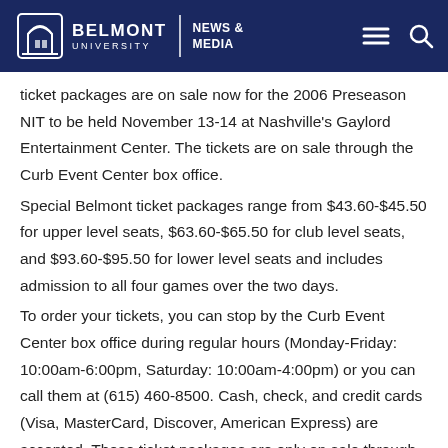Belmont University | News & Media
ticket packages are on sale now for the 2006 Preseason NIT to be held November 13-14 at Nashville's Gaylord Entertainment Center. The tickets are on sale through the Curb Event Center box office.
Special Belmont ticket packages range from $43.60-$45.50 for upper level seats, $63.60-$65.50 for club level seats, and $93.60-$95.50 for lower level seats and includes admission to all four games over the two days.
To order your tickets, you can stop by the Curb Event Center box office during regular hours (Monday-Friday: 10:00am-6:00pm, Saturday: 10:00am-4:00pm) or you can call them at (615) 460-8500. Cash, check, and credit cards (Visa, MasterCard, Discover, American Express) are accepted. These ticket packages are only on sale through Monday, October 16th.
In the Nashville bracket, Belmont will open up with UNC-